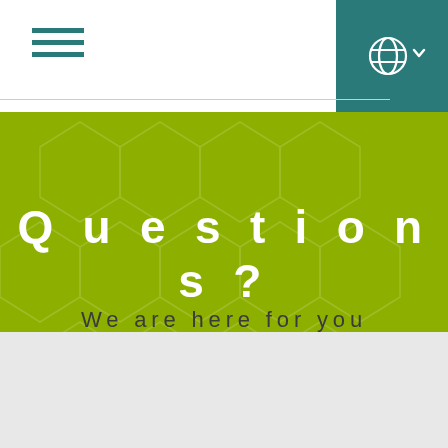[Figure (screenshot): Navigation header with hamburger menu icon on left (three horizontal teal lines) and teal globe/language selector on right]
Questions?
We are here for you
This website uses cookies.
ACCEPT
DECLINE